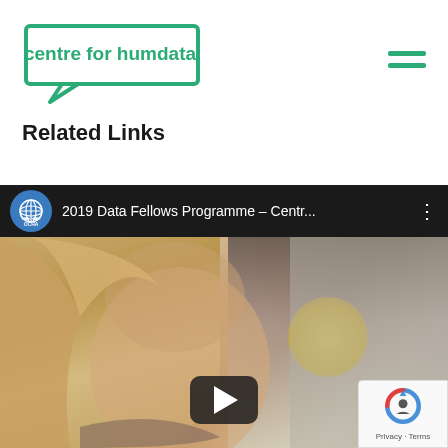[Figure (logo): Centre for Humdata logo as speech bubble outline in teal/green color with text inside]
[Figure (illustration): Hamburger menu icon with two green horizontal bars]
Related Links
[Figure (screenshot): Embedded YouTube video player showing '2019 Data Fellows Programme - Centr...' with OCHA logo, video thumbnail of a woman with blonde hair, and a play button overlay. A reCAPTCHA badge with Privacy and Terms text appears in bottom-right corner.]